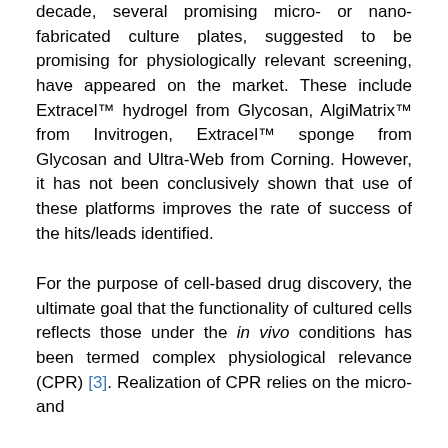decade, several promising micro- or nano-fabricated culture plates, suggested to be promising for physiologically relevant screening, have appeared on the market. These include Extracel™ hydrogel from Glycosan, AlgiMatrix™ from Invitrogen, Extracel™ sponge from Glycosan and Ultra-Web from Corning. However, it has not been conclusively shown that use of these platforms improves the rate of success of the hits/leads identified.
For the purpose of cell-based drug discovery, the ultimate goal that the functionality of cultured cells reflects those under the in vivo conditions has been termed complex physiological relevance (CPR) [3]. Realization of CPR relies on the micro- and